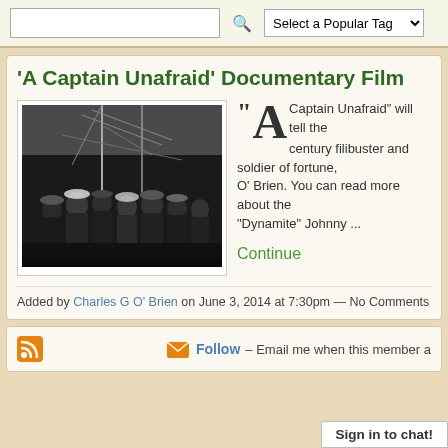Select a Popular Tag
'A Captain Unafraid' Documentary Film
[Figure (photo): Black and white historical photograph of a group of men on a ship deck, with rigging and masts visible in the background]
"A Captain Unafraid" will tell the century filibuster and soldier of fortune, O' Brien. You can read more about the "Dynamite" Johnny ...
Continue
Added by Charles G O' Brien on June 3, 2014 at 7:30pm — No Comments
Follow – Email me when this member a